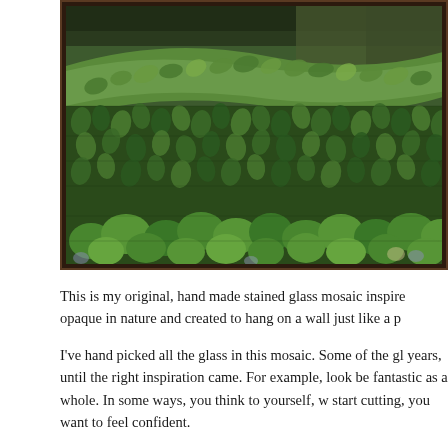[Figure (photo): A close-up photograph of a stained glass mosaic artwork featuring green foliage, leaves, and tropical vegetation in various shades of green, viewed through a dark wooden frame.]
This is my original, hand made stained glass mosaic inspire opaque in nature and created to hang on a wall just like a p
I've hand picked all the glass in this mosaic. Some of the gl years, until the right inspiration came. For example, look be fantastic as a whole. In some ways, you think to yourself, w start cutting, you want to feel confident.